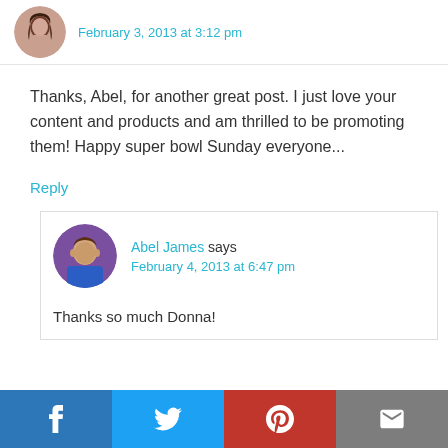[Figure (photo): Circular avatar of a woman with dark hair]
February 3, 2013 at 3:12 pm
Thanks, Abel, for another great post. I just love your content and products and am thrilled to be promoting them! Happy super bowl Sunday everyone...
Reply
[Figure (photo): Circular avatar of Abel James, a man in blue shirt]
Abel James says
February 4, 2013 at 6:47 pm
Thanks so much Donna!
[Figure (infographic): Social sharing bar with Facebook, Twitter, Pinterest, and Email buttons]